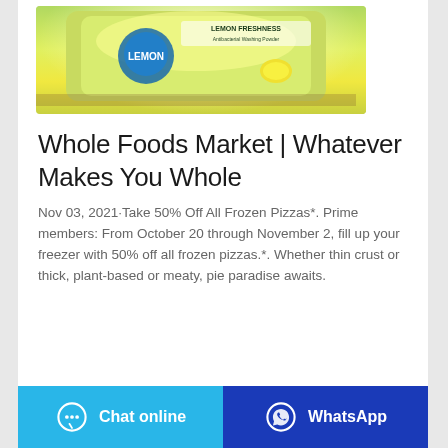[Figure (photo): A bag of Lemon Freshness washing powder on a wooden table, with white curtains in background.]
Whole Foods Market | Whatever Makes You Whole
Nov 03, 2021·Take 50% Off All Frozen Pizzas*. Prime members: From October 20 through November 2, fill up your freezer with 50% off all frozen pizzas.*. Whether thin crust or thick, plant-based or meaty, pie paradise awaits.
Chat online
WhatsApp